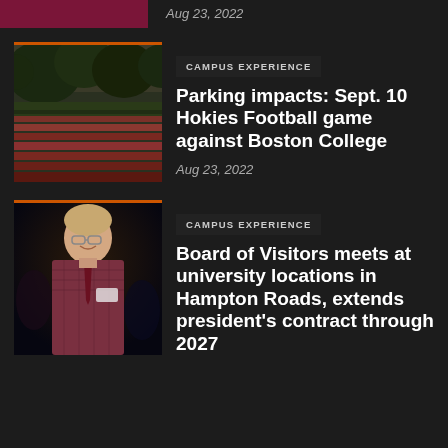Aug 23, 2022
[Figure (photo): Aerial/exterior view of a stadium with trees and seating]
CAMPUS EXPERIENCE
Parking impacts: Sept. 10 Hokies Football game against Boston College
Aug 23, 2022
[Figure (photo): Man in plaid blazer smiling at event, wearing glasses and a name tag]
CAMPUS EXPERIENCE
Board of Visitors meets at university locations in Hampton Roads, extends president's contract through 2027